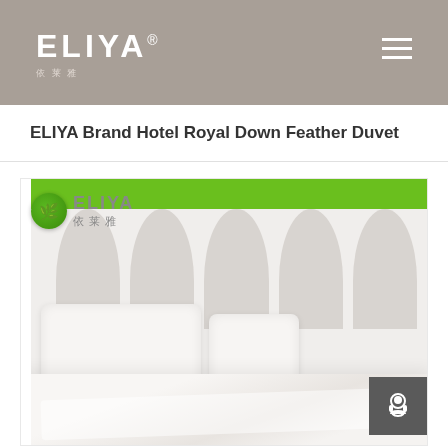ELIYA®
ELIYA Brand Hotel Royal Down Feather Duvet
[Figure (photo): Hotel bed with white pillows, white duvet/comforter on a bed with padded grey headboard panels. Green border at top of image. ELIYA brand logo with green circle/leaf icon and Chinese characters 依莱雅 overlaid on top-left of image. Dark grey customer service icon button at bottom-right.]